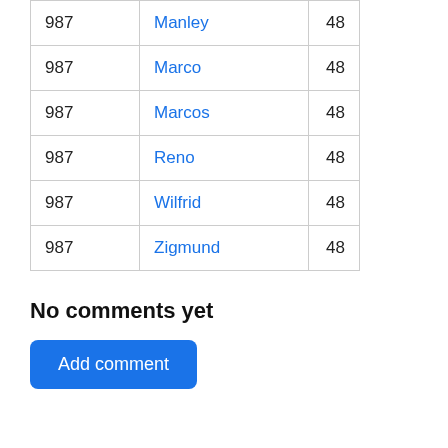| 987 | Manley | 48 |
| 987 | Marco | 48 |
| 987 | Marcos | 48 |
| 987 | Reno | 48 |
| 987 | Wilfrid | 48 |
| 987 | Zigmund | 48 |
No comments yet
Add comment